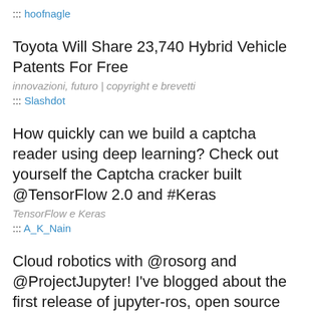::: hoofnagle
Toyota Will Share 23,740 Hybrid Vehicle Patents For Free
innovazioni, futuro | copyright e brevetti
::: Slashdot
How quickly can we build a captcha reader using deep learning? Check out yourself the Captcha cracker built @TensorFlow 2.0 and #Keras
TensorFlow e Keras
::: A_K_Nain
Cloud robotics with @rosorg and @ProjectJupyter! I've blogged about the first release of jupyter-ros, open source interactive widgets for the Jupyter ecosystem that bring 3-D RViz like capabilities to the notebook
robots
::: wrouif